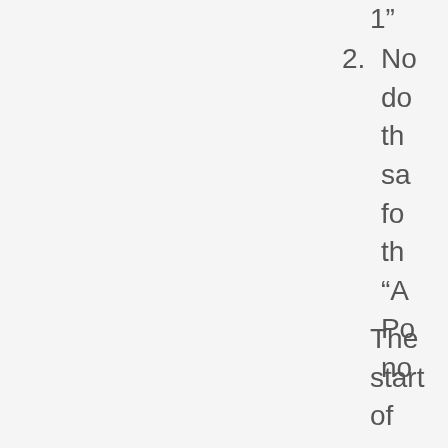1”
2. No do th sa fo th “A Po no
The start of your code should now look similar to Figure